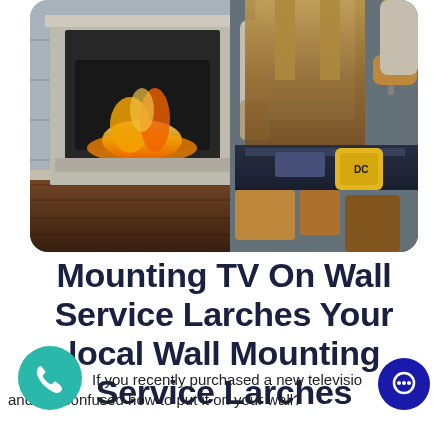[Figure (photo): A handyman/technician wearing a tool belt with a yellow tape measure, work gloves, and a tool vest, standing in front of a fireplace. The worker appears to be a professional tradesperson.]
Mounting TV On Wall Service Larches Your local Wall Mounting Service Larches
If you recently purchased a new television and are confused how to put it on your wall?